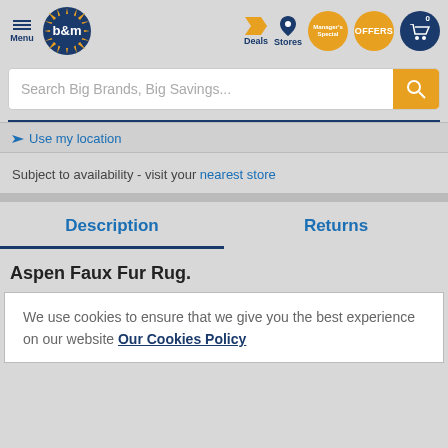[Figure (screenshot): B&M retail website header with logo, navigation icons (Menu, Deals, Stores, Manager's Special, Offers, Cart)]
Search Big Brands, Big Savings...
Use my location
Subject to availability - visit your nearest store
Description
Returns
Aspen Faux Fur Rug.
We use cookies to ensure that we give you the best experience on our website Our Cookies Policy